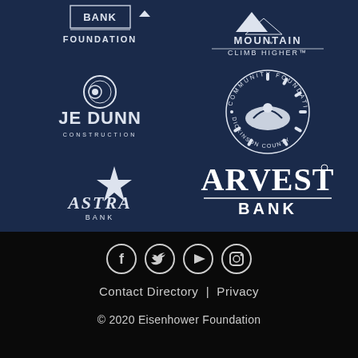[Figure (logo): Bank Foundation logo - top left on navy background]
[Figure (logo): Mountain Climb Higher logo - top right on navy background]
[Figure (logo): JE Dunn Construction logo - middle left on navy background]
[Figure (logo): Community Foundation Dickinson County circular logo - middle right on navy background]
[Figure (logo): Astra Bank logo - bottom left on navy background]
[Figure (logo): Arvest Bank logo - bottom right on navy background]
[Figure (infographic): Social media icons: Facebook, Twitter, YouTube, Instagram]
Contact Directory | Privacy
© 2020 Eisenhower Foundation